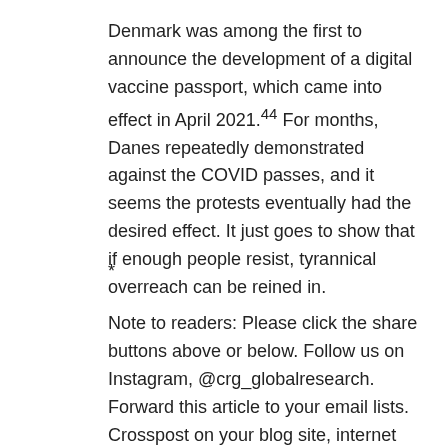Denmark was among the first to announce the development of a digital vaccine passport, which came into effect in April 2021.44 For months, Danes repeatedly demonstrated against the COVID passes, and it seems the protests eventually had the desired effect. It just goes to show that if enough people resist, tyrannical overreach can be reined in.
*
Note to readers: Please click the share buttons above or below. Follow us on Instagram, @crg_globalresearch. Forward this article to your email lists. Crosspost on your blog site, internet forums. etc.